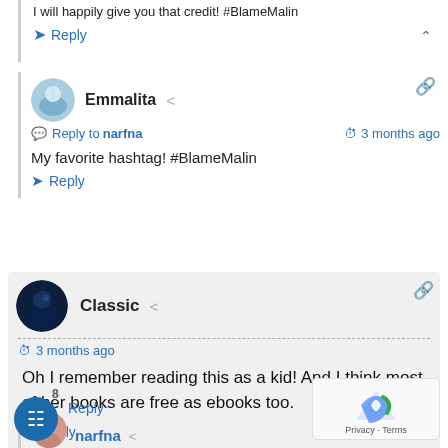I will happily give you that credit! #BlameMalin
Reply
Emmalita
Reply to narfna  3 months ago
My favorite hashtag! #BlameMalin
Reply
Classic
3 months ago
Oh I remember reading this as a kid! And I think most of her books are free as ebooks too.
Reply
narfna